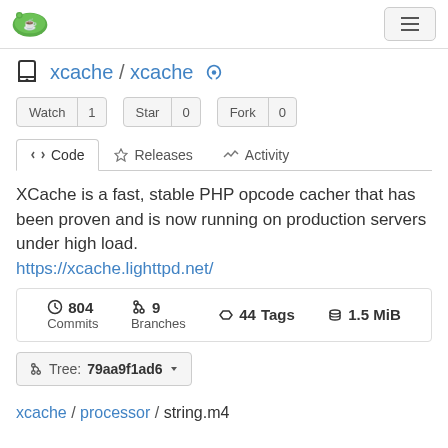Gitea logo and hamburger menu
xcache / xcache
Watch 1  Star 0  Fork 0
Code  Releases  Activity
XCache is a fast, stable PHP opcode cacher that has been proven and is now running on production servers under high load.
https://xcache.lighttpd.net/
| Commits | Branches | Tags | Size |
| --- | --- | --- | --- |
| 804 | 9 | 44 Tags | 1.5 MiB |
Tree: 79aa9f1ad6
xcache / processor / string.m4